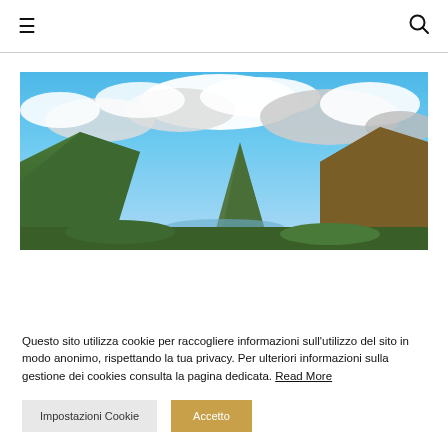≡  [search icon]
[Figure (photo): Panoramic landscape photo of a mountain valley with green hills, a peak in the center, distant water, and a dramatic blue sky with large cumulus clouds]
Questo sito utilizza cookie per raccogliere informazioni sull'utilizzo del sito in modo anonimo, rispettando la tua privacy. Per ulteriori informazioni sulla gestione dei cookies consulta la pagina dedicata. Read More
Impostazioni Cookie   Accetto